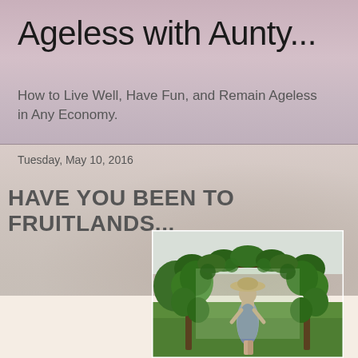Ageless with Aunty...
How to Live Well, Have Fun, and Remain Ageless in Any Economy.
Tuesday, May 10, 2016
HAVE YOU BEEN TO FRUITLANDS...
[Figure (photo): Woman in a floral dress and sun hat standing under a large vine-covered garden archway/pergola on a green lawn, with trees visible in the background]